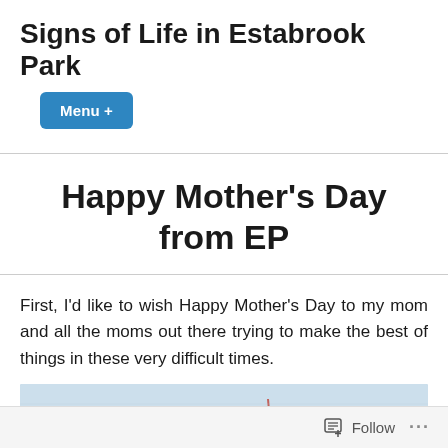Signs of Life in Estabrook Park
Menu +
Happy Mother's Day from EP
First, I'd like to wish Happy Mother's Day to my mom and all the moms out there trying to make the best of things in these very difficult times.
[Figure (illustration): Partial view of a children's drawing on light blue/white paper showing colorful lines and marks.]
Follow …